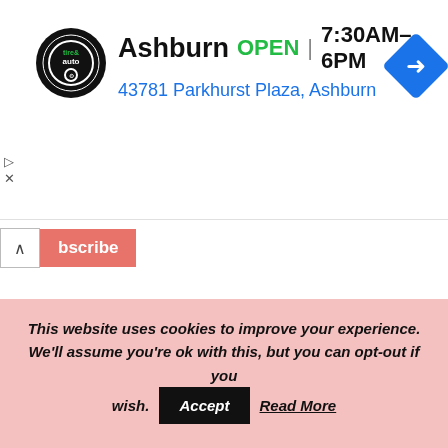[Figure (screenshot): Advertisement banner for Virginia Tire & Auto in Ashburn. Shows logo, OPEN status, hours 7:30AM-6PM, address 43781 Parkhurst Plaza Ashburn, and a blue navigation arrow icon.]
bscribe
Process and Different Stages
SUPPORT THIS BLOG BY
DONATING
This website uses cookies to improve your experience. We'll assume you're ok with this, but you can opt-out if you wish. Accept Read More